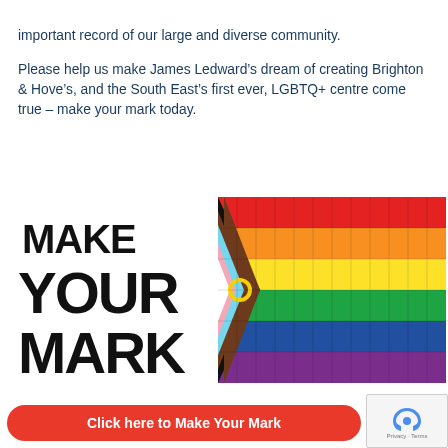important record of our large and diverse community.
Please help us make James Ledward’s dream of creating Brighton & Hove’s, and the South East’s first ever, LGBTQ+ centre come true – make your mark today.
[Figure (infographic): MAKE YOUR MARK text with Progress Pride Flag grid image]
Click here to Make Your Mark